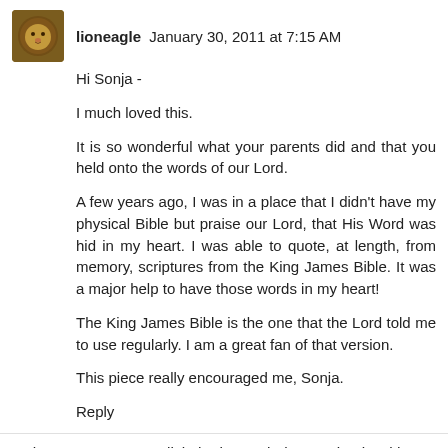lioneagle  January 30, 2011 at 7:15 AM
Hi Sonja -
I much loved this.
It is so wonderful what your parents did and that you held onto the words of our Lord.
A few years ago, I was in a place that I didn't have my physical Bible but praise our Lord, that His Word was hid in my heart. I was able to quote, at length, from memory, scriptures from the King James Bible. It was a major help to have those words in my heart!
The King James Bible is the one that the Lord told me to use regularly. I am a great fan of that version.
This piece really encouraged me, Sonja.
Reply
To leave a comment, click the button below to sign in with Google.